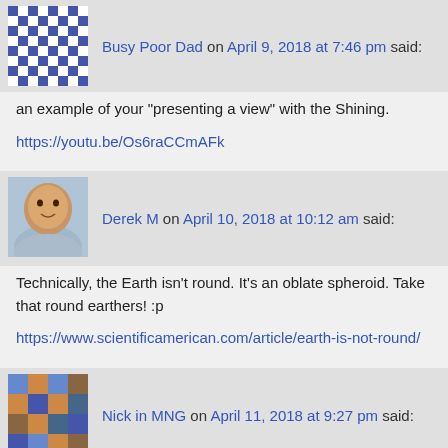[Figure (other): Gravatar/avatar icon - blue and white checkered pattern]
Busy Poor Dad on April 9, 2018 at 7:46 pm said:
an example of your “presenting a view” with the Shining.
https://youtu.be/Os6raCCmAFk
[Figure (photo): Profile photo of a man in a light blue shirt]
Derek M on April 10, 2018 at 10:12 am said:
Technically, the Earth isn't round. It's an oblate spheroid. Take that round earthers! :p
https://www.scientificamerican.com/article/earth-is-not-round/
[Figure (other): Gravatar/avatar icon - colorful pattern]
Nick in MNG on April 11, 2018 at 9:27 pm said:
As for the Millenial flat earth thing, I suspect some of that is part of the larger erosion of trust and faith in traditional institutions and society. Which has good and bad sides I guess… good in that people may be more wary of gov't and mass media propaganda, yet bad in the negative effect this has on social cohesion and increased social strife. Still, it